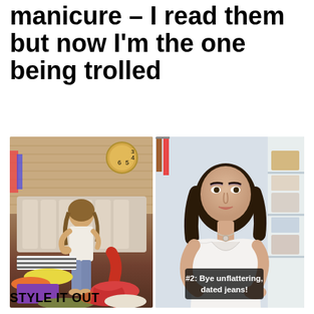manicure – I read them but now I'm the one being trolled
[Figure (photo): Woman sitting on a bed surrounded by piles of colorful clothes looking overwhelmed]
[Figure (photo): Woman with dark wavy hair in white top speaking to camera in a closet, with caption overlay '#2: Bye unflattering, dated jeans!']
STYLE IT OUT